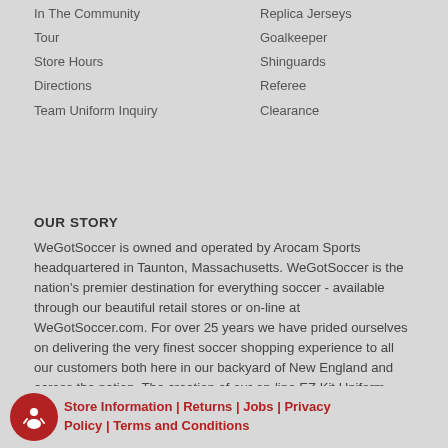In The Community
Tour
Store Hours
Directions
Team Uniform Inquiry
Replica Jerseys
Goalkeeper
Shinguards
Referee
Clearance
OUR STORY
WeGotSoccer is owned and operated by Arocam Sports headquartered in Taunton, Massachusetts. WeGotSoccer is the nation’s premier destination for everything soccer - available through our beautiful retail stores or on-line at WeGotSoccer.com. For over 25 years we have prided ourselves on delivering the very finest soccer shopping experience to all our customers both here in our backyard of New England and across the nation. The creation of our on-line EZ Kit Uniform ordering process provides our Team customers the easiest and most customer friendly ordering experience in the industry - this coupled with our recent expansion into a new 88,000 square feet production and distribution facility positions us to continue to provide the very best experience for our customers.
Store Information |  Returns |  Jobs |  Privacy Policy |  Terms and Conditions